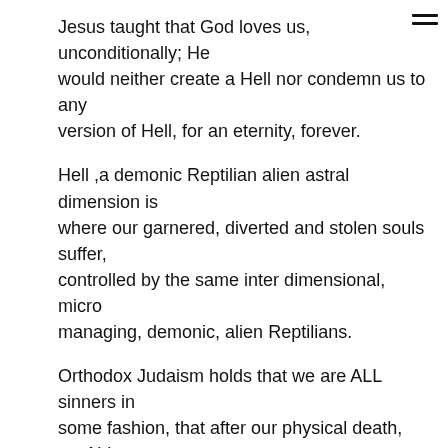Jesus taught that God loves us, unconditionally; He would neither create a Hell nor condemn us to any version of Hell, for an eternity, forever.
Hell ,a demonic Reptilian alien astral dimension is where our garnered, diverted and stolen souls suffer, controlled by the same inter dimensional, micro managing, demonic, alien Reptilians.
Orthodox Judaism holds that we are ALL sinners in some fashion, that after our physical death, we ALL go to a seven leveled Hell, Gehenna, for a duration of specialized, individualized time, before our transit to Heaven.
Purgatory, a sad lost place and Hell, a torture, are dimensional places contrived by demonic, not divine celestial beings.